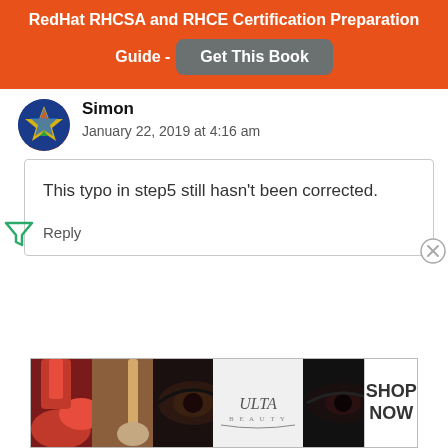RedHat RHCSA and RHCE Certification Preparation Guide - Get This Book
Simon
January 22, 2019 at 4:16 am
This typo in step5 still hasn't been corrected.
Reply
[Figure (photo): Ulta Beauty advertisement banner with makeup-themed photos and shop now button]